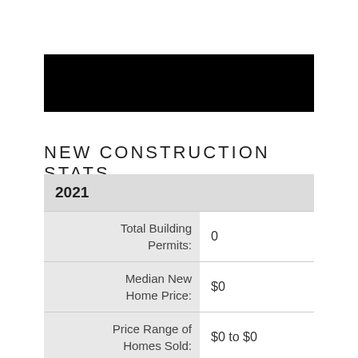[Figure (other): Black redacted bar covering header/image area]
NEW CONSTRUCTION STATS
|  |  |
| --- | --- |
| 2021 |  |
| Total Building Permits: | 0 |
| Median New Home Price: | $0 |
| Price Range of Homes Sold: | $0 to $0 |